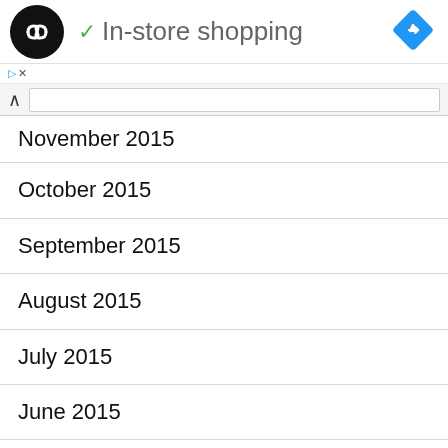[Figure (logo): Black circle logo with double-arrow/infinity symbol in white, checkmark icon in green, text 'In-store shopping', blue diamond navigation icon]
November 2015
October 2015
September 2015
August 2015
July 2015
June 2015
May 2015
April 2015
March 2015